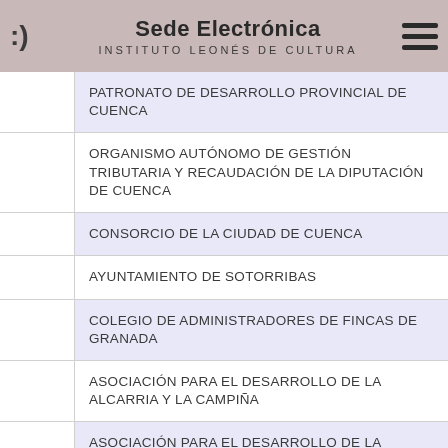Sede Electrónica
INSTITUTO LEONÉS DE CULTURA
PATRONATO DE DESARROLLO PROVINCIAL DE CUENCA
ORGANISMO AUTÓNOMO DE GESTIÓN TRIBUTARIA Y RECAUDACIÓN DE LA DIPUTACIÓN DE CUENCA
CONSORCIO DE LA CIUDAD DE CUENCA
AYUNTAMIENTO DE SOTORRIBAS
COLEGIO DE ADMINISTRADORES DE FINCAS DE GRANADA
ASOCIACIÓN PARA EL DESARROLLO DE LA ALCARRIA Y LA CAMPIÑA
ASOCIACIÓN PARA EL DESARROLLO DE LA ALCARRIA SUR (ADASUR)
ASOCIACIÓN PARA EL DESARROLLO LOCAL DE LA SIERRA NORTE DE